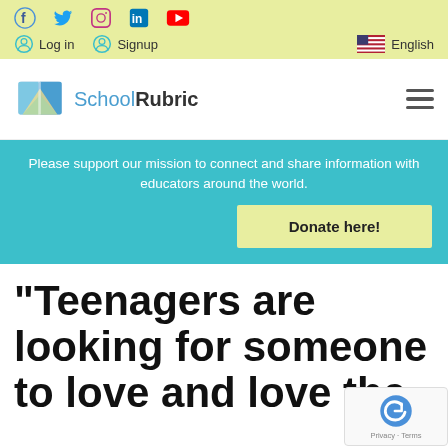Social icons: Facebook, Twitter, Instagram, LinkedIn, YouTube
Log in | Signup | English
[Figure (logo): SchoolRubric logo with open book icon and text 'SchoolRubric']
Please support our mission to connect and share information with educators around the world. Donate here!
“Teenagers are looking for someone to love and love the…